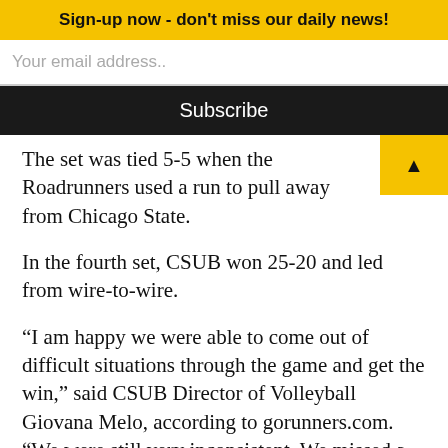Sign-up now - don't miss our daily news!
Your email address..
Subscribe
The set was tied 5-5 when the Roadrunners used a run to pull away from Chicago State.
In the fourth set, CSUB won 25-20 and led from wire-to-wire.
“I am happy we were able to come out of difficult situations through the game and get the win,” said CSUB Director of Volleyball Giovana Melo, according to gorunners.com. “We were still very inconsistent. We missed a lot of serves.”
Freshman outside hitter Desiree Suhkov led the Roadrunners with 13 kills.
Redshirt-senior Haylee Roberts chipped in with 12 kills